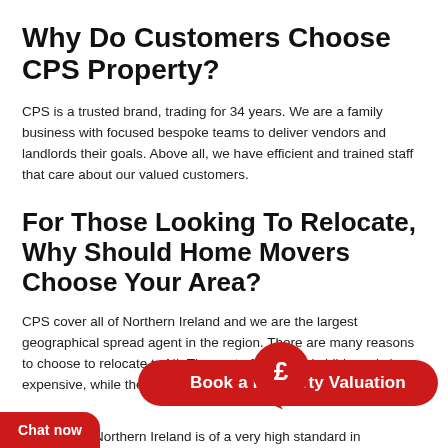Why Do Customers Choose CPS Property?
CPS is a trusted brand, trading for 34 years. We are a family business with focused bespoke teams to deliver vendors and landlords their goals. Above all, we have efficient and trained staff that care about our valued customers.
For Those Looking To Relocate, Why Should Home Movers Choose Your Area?
CPS cover all of Northern Ireland and we are the largest geographical spread agent in the region. There are many reasons to choose to relocate to NI. The cost of living and childcare is less expensive, while the quality of life is certainly very high.
[Figure (infographic): Red circular icon with pound sign (£) and speech bubble tail, next to a red rounded button labeled 'Book a Property Valuation']
Chat now
n system in Northern Ireland is of a very high standard in